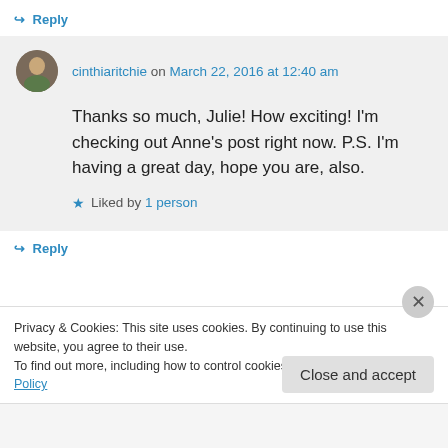↪ Reply
cinthiaritchie on March 22, 2016 at 12:40 am
Thanks so much, Julie! How exciting! I'm checking out Anne's post right now. P.S. I'm having a great day, hope you are, also.
★ Liked by 1 person
↪ Reply
Privacy & Cookies: This site uses cookies. By continuing to use this website, you agree to their use.
To find out more, including how to control cookies, see here: Cookie Policy
Close and accept